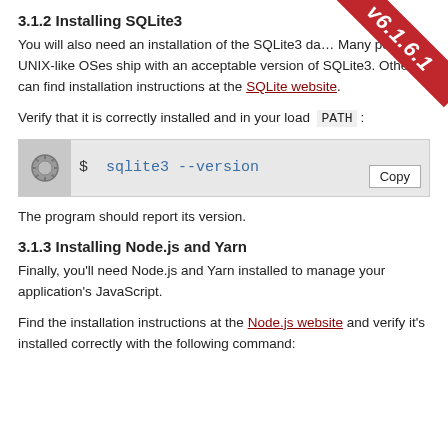3.1.2 Installing SQLite3
You will also need an installation of the SQLite3 da... Many popular UNIX-like OSes ship with an acceptable version of SQLite3. Others can find installation instructions at the SQLite website.
Verify that it is correctly installed and in your load PATH :
[Figure (screenshot): Code block showing terminal command: $ sqlite3 --version]
The program should report its version.
3.1.3 Installing Node.js and Yarn
Finally, you'll need Node.js and Yarn installed to manage your application's JavaScript.
Find the installation instructions at the Node.js website and verify it's installed correctly with the following command: